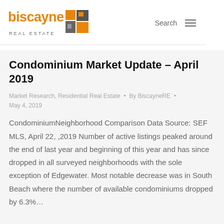biscayne REAL ESTATE | Search | Menu
Condominium Market Update – April 2019
Market Research, Residential Real Estate • By BiscayneRE • May 4, 2019
CondominiumNeighborhood Comparison Data Source: SEF MLS, April 22, ,2019 Number of active listings peaked around the end of last year and beginning of this year and has since dropped in all surveyed neighborhoods with the sole exception of Edgewater. Most notable decrease was in South Beach where the number of available condominiums dropped by 6.3%…